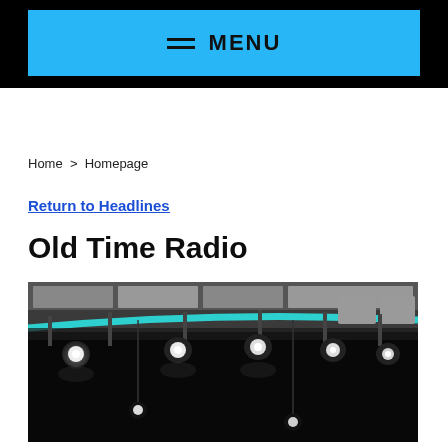MENU
Home > Homepage
Return to Headlines
Old Time Radio
[Figure (photo): Stage lighting fixtures hanging from a ceiling rig in a darkened auditorium or studio, with bright spotlights visible against the dark background and a teal-colored curved structure visible.]